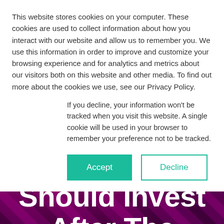This website stores cookies on your computer. These cookies are used to collect information about how you interact with our website and allow us to remember you. We use this information in order to improve and customize your browsing experience and for analytics and metrics about our visitors both on this website and other media. To find out more about the cookies we use, see our Privacy Policy.
If you decline, your information won't be tracked when you visit this website. A single cookie will be used in your browser to remember your preference not to be tracked.
[Figure (screenshot): Two buttons: a teal/green 'Accept' button and a white 'Decline' button with teal border]
Returns: Where DTC Brands Should Invest After The Social